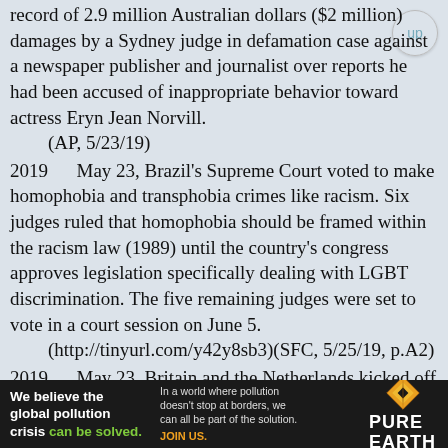record of 2.9 million Australian dollars ($2 million) damages by a Sydney judge in defamation case against a newspaper publisher and journalist over reports he had been accused of inappropriate behavior toward actress Eryn Jean Norvill.
    (AP, 5/23/19)
2019      May 23, Brazil's Supreme Court voted to make homophobia and transphobia crimes like racism. Six judges ruled that homophobia should be framed within the racism law (1989) until the country's congress approves legislation specifically dealing with LGBT discrimination. The five remaining judges were set to vote in a court session on June 5.
    (http://tinyurl.com/y42y8sb3)(SFC, 5/25/19, p.A2)
2019      May 23, Britain and the Netherlands kicked off four days of phased voting for the 28 members states of the European Parliament.
    (AP, 5/24/19)
2019      May 23, British author Judith Kerr (95), who enchanted generations of children with
[Figure (infographic): Advertisement banner: 'We believe the global pollution crisis can be solved.' with Pure Earth logo. Text: 'In a world where pollution doesn't stop at borders, we can all be part of the solution. JOIN US.']